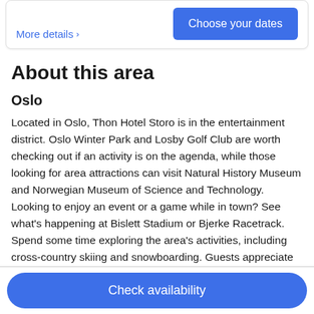More details >
Choose your dates
About this area
Oslo
Located in Oslo, Thon Hotel Storo is in the entertainment district. Oslo Winter Park and Losby Golf Club are worth checking out if an activity is on the agenda, while those looking for area attractions can visit Natural History Museum and Norwegian Museum of Science and Technology. Looking to enjoy an event or a game while in town? See what's happening at Bislett Stadium or Bjerke Racetrack. Spend some time exploring the area's activities, including cross-country skiing and snowboarding. Guests appreciate the hotel's convenience for public transportation: Nydalen T-Bane is 5 minutes on foot and Storo T-Bane is 6 minutes.
Check availability